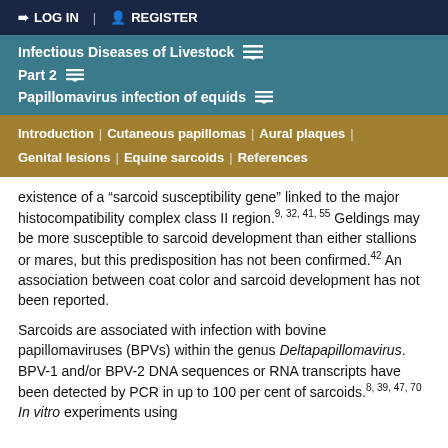LOG IN | REGISTER
Infectious Diseases of Livestock
Part 2
Papillomavirus infection of equids
Introduction | Cutaneous papillomas | Aural plaques | Genital lesions | Equine sarcoids | References
existence of a “sarcoid susceptibility gene” linked to the major histocompatibility complex class II region.9, 32, 41, 55 Geldings may be more susceptible to sarcoid development than either stallions or mares, but this predisposition has not been confirmed.42 An association between coat color and sarcoid development has not been reported.
Sarcoids are associated with infection with bovine papillomaviruses (BPVs) within the genus Deltapapillomavirus. BPV-1 and/or BPV-2 DNA sequences or RNA transcripts have been detected by PCR in up to 100 per cent of sarcoids.8, 39, 47, 70 In vitro experiments using